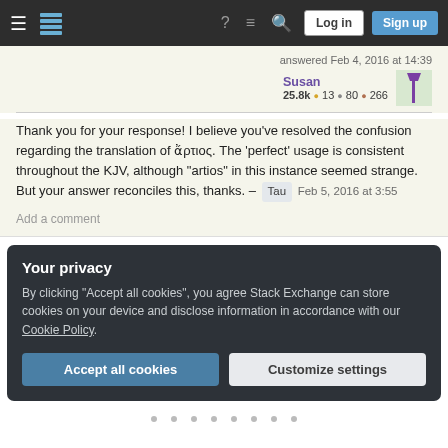Stack Exchange navigation bar with hamburger menu, logo, help, chat, search icons, Log in and Sign up buttons
answered Feb 4, 2016 at 14:39
Susan 25.8k ● 13 ● 80 ● 266
Thank you for your response! I believe you've resolved the confusion regarding the translation of ἄρτιος. The 'perfect' usage is consistent throughout the KJV, although "artios" in this instance seemed strange. But your answer reconciles this, thanks. – Tau Feb 5, 2016 at 3:55
Add a comment
Your privacy
By clicking "Accept all cookies", you agree Stack Exchange can store cookies on your device and disclose information in accordance with our Cookie Policy.
Accept all cookies
Customize settings